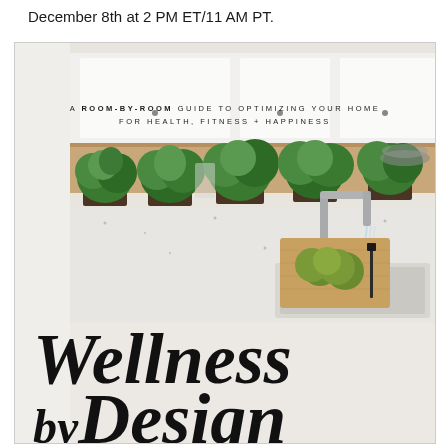December 8th at 2 PM ET/11 AM PT.
[Figure (photo): Book cover for 'Wellness by Design' showing a kitchen countertop with fresh herbs in pots along a wooden shelf, a modern chrome faucet with running water, green limes on a wooden cutting board, and the subtitle 'A Room-by-Room Guide to Optimizing Your Home for Health, Fitness + Happiness']